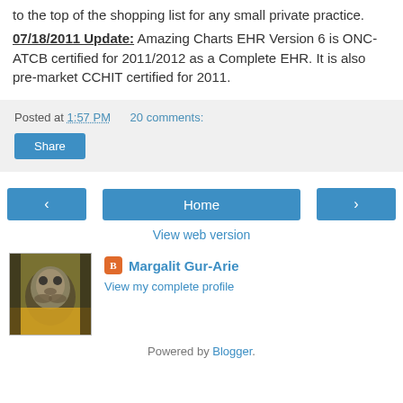to the top of the shopping list for any small private practice.
07/18/2011 Update: Amazing Charts EHR Version 6 is ONC-ATCB certified for 2011/2012 as a Complete EHR. It is also pre-market CCHIT certified for 2011.
Posted at 1:57 PM   20 comments:
Share
< Home >
View web version
Margalit Gur-Arie
View my complete profile
Powered by Blogger.